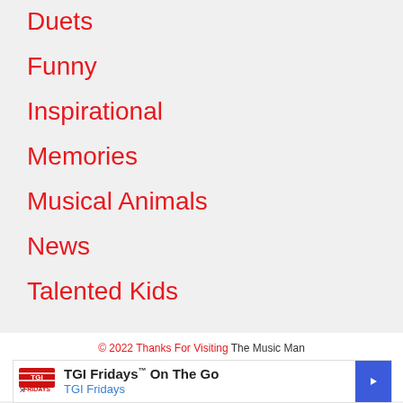Duets
Funny
Inspirational
Memories
Musical Animals
News
Talented Kids
© 2022 Thanks For Visiting The Music Man
Privacy Policy
Copyright Reporting Tool
Operated By T5 Media Limited
[Figure (other): TGI Fridays advertisement banner showing TGI Fridays logo, text 'TGI Fridays™ On The Go' and 'TGI Fridays' with a blue diamond arrow button on the right]